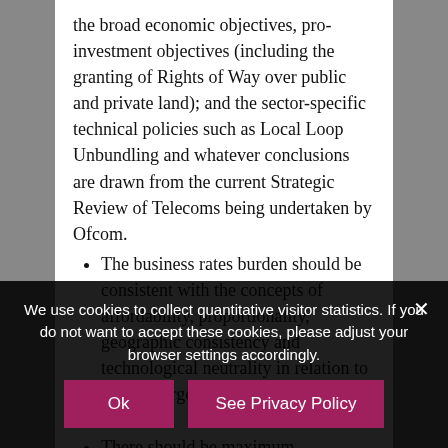the broad economic objectives, pro- investment objectives (including the granting of Rights of Way over public and private land); and the sector-specific technical policies such as Local Loop Unbundling and whatever conclusions are drawn from the current Strategic Review of Telecoms being undertaken by Ofcom.
The business rates burden should be consistent with the concepts of affordability, proportionality, geographic consistency and technological neutrality in relation to the converged communications sector.
There should be maximum transparency in relation
We use cookies to collect quantitative visitor statistics. If you do not want to accept these cookies, please adjust your browser settings accordingly.